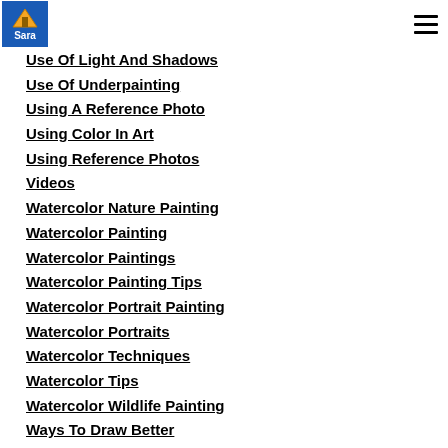Sara [logo with navigation]
Use Of Light And Shadows
Use Of Underpainting
Using A Reference Photo
Using Color In Art
Using Reference Photos
Videos
Watercolor Nature Painting
Watercolor Painting
Watercolor Paintings
Watercolor Painting Tips
Watercolor Portrait Painting
Watercolor Portraits
Watercolor Techniques
Watercolor Tips
Watercolor Wildlife Painting
Ways To Draw Better
Ways To Improve Your Paintings